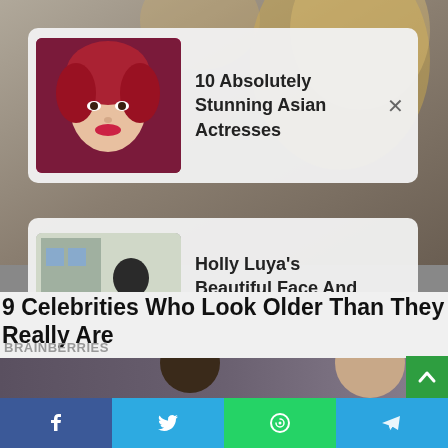[Figure (screenshot): Background photo of person with blonde hair, partially visible]
10 Absolutely Stunning Asian Actresses
Holly Luya's Beautiful Face And Hourglass Figure Are Captivating
9 Celebrities Who Look Older Than They Really Are
BRAINBERRIES
[Figure (photo): Two people from Friends TV show, man and woman near brick wall]
[Figure (infographic): Social share bar with Facebook, Twitter, WhatsApp, Telegram buttons]